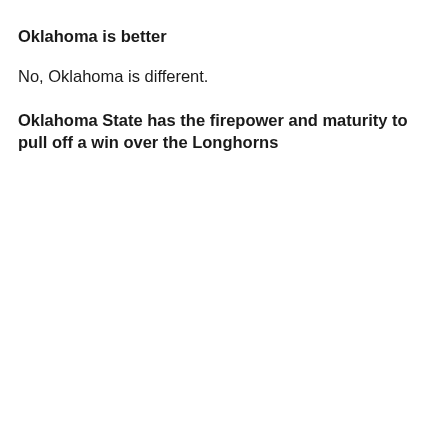Oklahoma is better
No, Oklahoma is different.
Oklahoma State has the firepower and maturity to pull off a win over the Longhorns